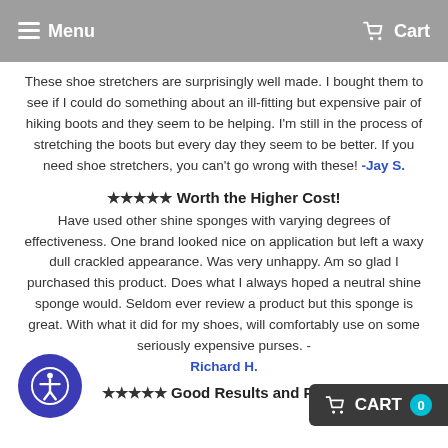Menu   Cart
These shoe stretchers are surprisingly well made. I bought them to see if I could do something about an ill-fitting but expensive pair of hiking boots and they seem to be helping. I'm still in the process of stretching the boots but every day they seem to be better. If you need shoe stretchers, you can't go wrong with these! -Jay S.
★★★★★ Worth the Higher Cost!
Have used other shine sponges with varying degrees of effectiveness. One brand looked nice on application but left a waxy dull crackled appearance. Was very unhappy. Am so glad I purchased this product. Does what I always hoped a neutral shine sponge would. Seldom ever review a product but this sponge is great. With what it did for my shoes, will comfortably use on some seriously expensive purses. - Richard H.
★★★★★ Good Results and Pretty